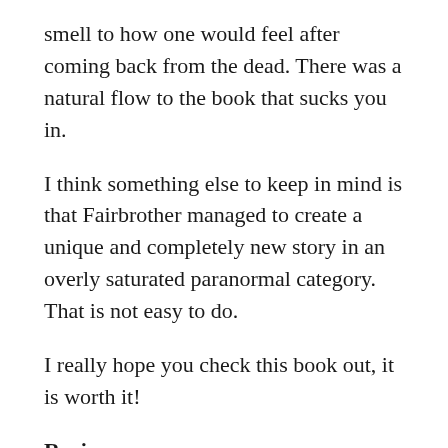smell to how one would feel after coming back from the dead. There was a natural flow to the book that sucks you in.
I think something else to keep in mind is that Fairbrother managed to create a unique and completely new story in an overly saturated paranormal category. That is not easy to do.
I really hope you check this book out, it is worth it!
Review:
Characters in this story range from zombies to shape shifting cats who take on the personality of the animals they shift into. But the most